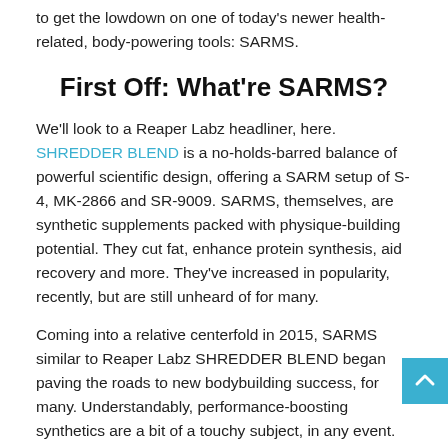to get the lowdown on one of today's newer health-related, body-powering tools: SARMS.
First Off: What're SARMS?
We'll look to a Reaper Labz headliner, here. SHREDDER BLEND is a no-holds-barred balance of powerful scientific design, offering a SARM setup of S-4, MK-2866 and SR-9009. SARMS, themselves, are synthetic supplements packed with physique-building potential. They cut fat, enhance protein synthesis, aid recovery and more. They've increased in popularity, recently, but are still unheard of for many.
Coming into a relative centerfold in 2015, SARMS similar to Reaper Labz SHREDDER BLEND began paving the roads to new bodybuilding success, for many. Understandably, performance-boosting synthetics are a bit of a touchy subject, in any event. Anabolic steroids and prohormones, in 2015,